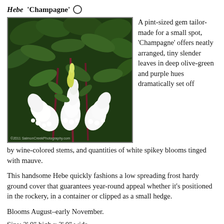Hebe 'Champagne'
[Figure (photo): Close-up photograph of Hebe 'Champagne' plant showing white spikey blooms and deep olive-green leaves with wine-colored stems. Watermark reads '©2011 SalmonCreekPhotography.com']
A pint-sized gem tailor-made for a small spot, 'Champagne' offers neatly arranged, tiny slender leaves in deep olive-green and purple hues dramatically set off by wine-colored stems, and quantities of white spikey blooms tinged with mauve.
This handsome Hebe quickly fashions a low spreading frost hardy ground cover that guarantees year-round appeal whether it's positioned in the rockery, in a container or clipped as a small hedge.
Blooms August–early November.
Size: 2' 0" high x 3' 0" wide.
Hardy to zone 8.